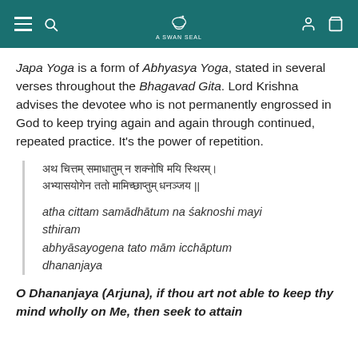A Swan Seal website header with navigation icons and logo
Japa Yoga is a form of Abhyasya Yoga, stated in several verses throughout the Bhagavad Gita. Lord Krishna advises the devotee who is not permanently engrossed in God to keep trying again and again through continued, repeated practice. It's the power of repetition.
[Sanskrit verse] atha cittam samādhātum na śaknoshi mayi sthiram abhyāsayogena tato mām icchāptum dhananjaya
O Dhananjaya (Arjuna), if thou art not able to keep thy mind wholly on Me, then seek to attain